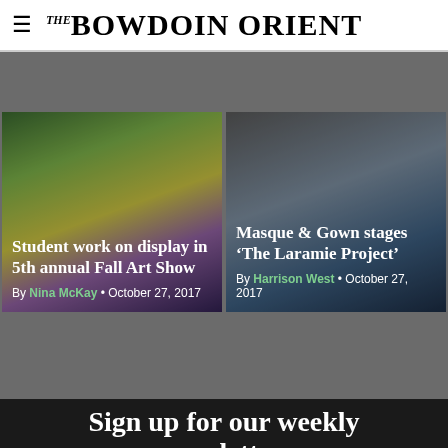THE BOWDOIN ORIENT
[Figure (photo): Article card with colorful painting/artwork background. Title: Student work on display in 5th annual Fall Art Show. By Nina McKay • October 27, 2017]
[Figure (photo): Article card with dark theatrical stage photo background. Title: Masque & Gown stages 'The Laramie Project'. By Harrison West • October 27, 2017]
Sign up for our weekly newsletter.